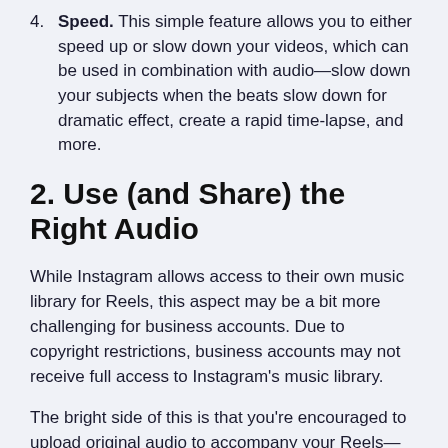4. Speed. This simple feature allows you to either speed up or slow down your videos, which can be used in combination with audio—slow down your subjects when the beats slow down for dramatic effect, create a rapid time-lapse, and more.
2. Use (and Share) the Right Audio
While Instagram allows access to their own music library for Reels, this aspect may be a bit more challenging for business accounts. Due to copyright restrictions, business accounts may not receive full access to Instagram's music library.
The bright side of this is that you're encouraged to upload original audio to accompany your Reels—and if